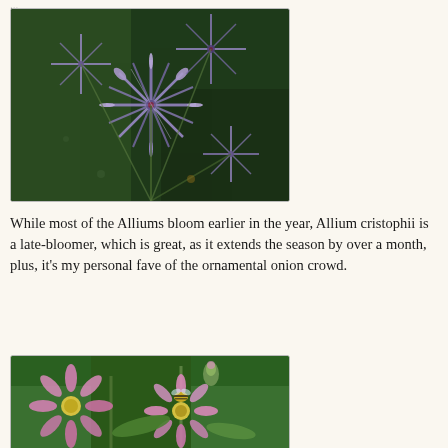[Figure (photo): Close-up photograph of Allium cristophii flowers with purple star-shaped blooms against a dark green background]
While most of the Alliums bloom earlier in the year, Allium cristophii is a late-bloomer, which is great, as it extends the season by over a month, plus, it's my personal fave of the ornamental onion crowd.
[Figure (photo): Close-up photograph of pink daisy-like flowers with a bee, against a green background]